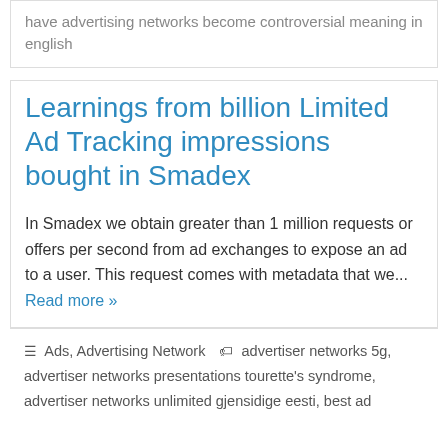have advertising networks become controversial meaning in english
Learnings from billion Limited Ad Tracking impressions bought in Smadex
In Smadex we obtain greater than 1 million requests or offers per second from ad exchanges to expose an ad to a user. This request comes with metadata that we... Read more »
Ads, Advertising Network  advertiser networks 5g, advertiser networks presentations tourette's syndrome, advertiser networks unlimited gjensidige eesti, best ad